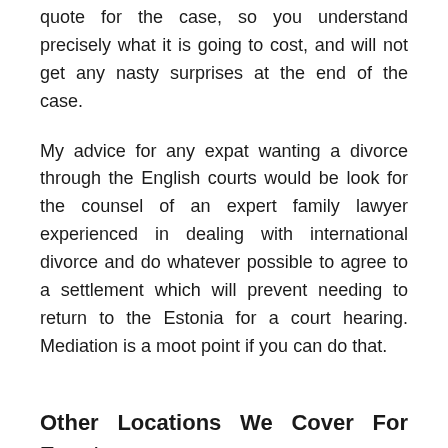quote for the case, so you understand precisely what it is going to cost, and will not get any nasty surprises at the end of the case.
My advice for any expat wanting a divorce through the English courts would be look for the counsel of an expert family lawyer experienced in dealing with international divorce and do whatever possible to agree to a settlement which will prevent needing to return to the Estonia for a court hearing. Mediation is a moot point if you can do that.
Other Locations We Cover For Expats